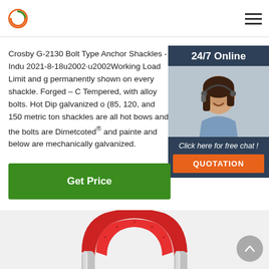Logo and navigation header
Crosby G-2130 Bolt Type Anchor Shackles - Indu 2021-8-18u2002·u2002Working Load Limit and g permanently shown on every shackle. Forged – C Tempered, with alloy bolts. Hot Dip galvanized o (85, 120, and 150 metric ton shackles are all hot bows and the bolts are Dimetcoted® and painte and below are mechanically galvanized.
[Figure (photo): Customer service representative with headset, 24/7 Online chat widget with QUOTATION button]
Get Price
[Figure (photo): Close-up photo of a red and silver Crosby bolt type anchor shackle]